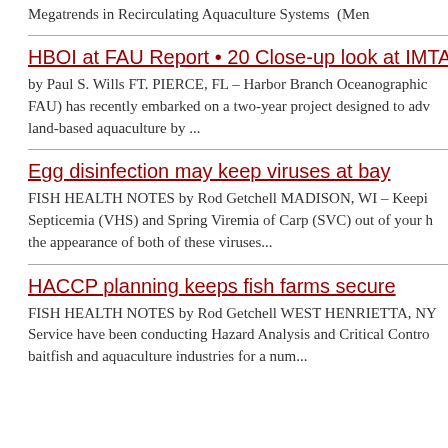Megatrends in Recirculating Aquaculture Systems (Men...
HBOI at FAU Report • 20 Close-up look at IMTA in RA...
by Paul S. Wills FT. PIERCE, FL – Harbor Branch Oceanographic FAU) has recently embarked on a two-year project designed to adv land-based aquaculture by ...
Egg disinfection may keep viruses at bay
FISH HEALTH NOTES by Rod Getchell MADISON, WI – Keeping Viral Hemorrhagic Septicemia (VHS) and Spring Viremia of Carp (SVC) out of your h... the appearance of both of these viruses...
HACCP planning keeps fish farms secure
FISH HEALTH NOTES by Rod Getchell WEST HENRIETTA, NY – Service have been conducting Hazard Analysis and Critical Control baitfish and aquaculture industries for a num...